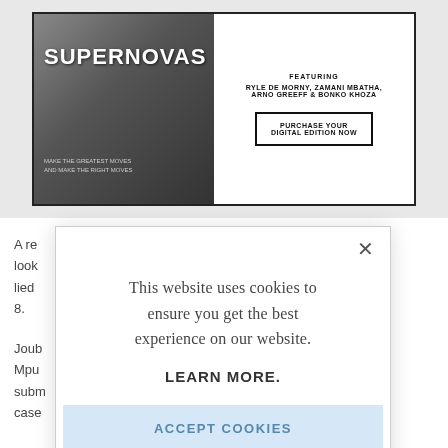[Figure (screenshot): Magazine advertisement for SUPERNOVAS featuring a banner with the title and text 'FEATURING RYLE DE MORNY, ZAMANI MBATHA, ARNO GREEFF & BONKO KHOZA' and a 'PURCHASE YOUR DIGITAL EDITION NOW' button.]
A re... look lied 8.
Joub Mpu subm case
This website uses cookies to ensure you get the best experience on our website.
LEARN MORE.
ACCEPT COOKIES